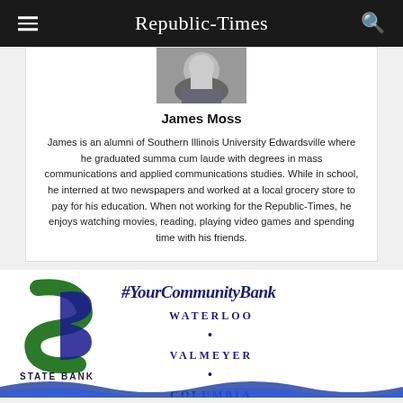Republic-Times
[Figure (photo): Headshot photo of James Moss]
James Moss
James is an alumni of Southern Illinois University Edwardsville where he graduated summa cum laude with degrees in mass communications and applied communications studies. While in school, he interned at two newspapers and worked at a local grocery store to pay for his education. When not working for the Republic-Times, he enjoys watching movies, reading, playing video games and spending time with his friends.
[Figure (logo): State Bank advertisement with logo — #YourCommunityBank — Waterloo • Valmeyer • Columbia]